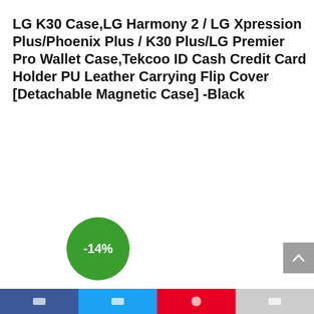LG K30 Case,LG Harmony 2 / LG Xpression Plus/Phoenix Plus / K30 Plus/LG Premier Pro Wallet Case,Tekcoo ID Cash Credit Card Holder PU Leather Carrying Flip Cover [Detachable Magnetic Case] -Black
[Figure (infographic): Green circular badge showing -14% discount]
[Figure (infographic): Gray scroll-to-top button with upward chevron arrow in the bottom right]
Social sharing footer bar with icons for Facebook, Twitter, Pinterest, and another social platform